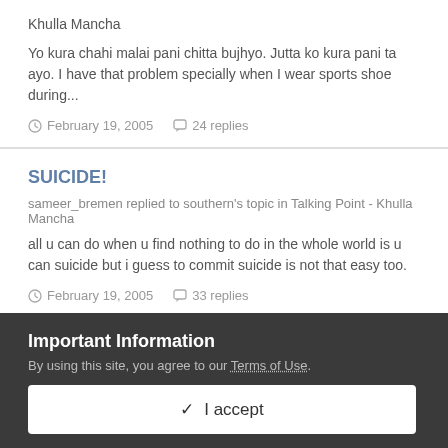Khulla Mancha
Yo kura chahi malai pani chitta bujhyo. Jutta ko kura pani ta ayo. I have that problem specially when I wear sports shoe during...
February 19, 2005   24 replies
SUICIDE!
sameer_bremen replied to southern's topic in Talking Point - Khulla Mancha
all u can do when u find nothing to do in the whole world is u can suicide but i guess to commit suicide is not that easy too.
February 19, 2005   33 replies
Important Information
By using this site, you agree to our Terms of Use.
✓  I accept